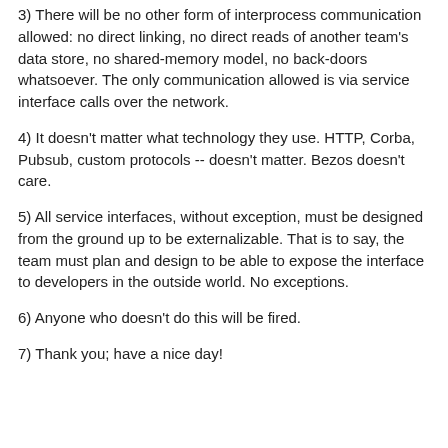3) There will be no other form of interprocess communication allowed: no direct linking, no direct reads of another team's data store, no shared-memory model, no back-doors whatsoever. The only communication allowed is via service interface calls over the network.
4) It doesn't matter what technology they use. HTTP, Corba, Pubsub, custom protocols -- doesn't matter. Bezos doesn't care.
5) All service interfaces, without exception, must be designed from the ground up to be externalizable. That is to say, the team must plan and design to be able to expose the interface to developers in the outside world. No exceptions.
6) Anyone who doesn't do this will be fired.
7) Thank you; have a nice day!